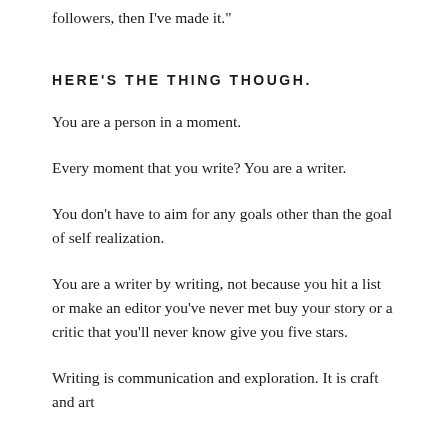followers, then I've made it."
HERE'S THE THING THOUGH.
You are a person in a moment.
Every moment that you write? You are a writer.
You don't have to aim for any goals other than the goal of self realization.
You are a writer by writing, not because you hit a list or make an editor you've never met buy your story or a critic that you'll never know give you five stars.
Writing is communication and exploration. It is craft and art